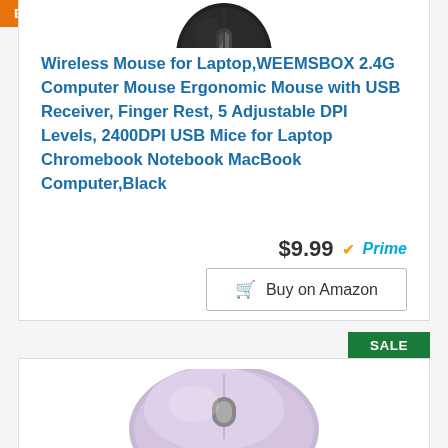[Figure (photo): Black wireless mouse partial image at top of product card]
Wireless Mouse for Laptop,WEEMSBOX 2.4G Computer Mouse Ergonomic Mouse with USB Receiver, Finger Rest, 5 Adjustable DPI Levels, 2400DPI USB Mice for Laptop Chromebook Notebook MacBook Computer,Black
$9.99 Prime
Buy on Amazon
BESTSELLER NO. 9
SALE
[Figure (photo): Light purple/lavender wireless mouse on white background, product listing image for bestseller no. 9]